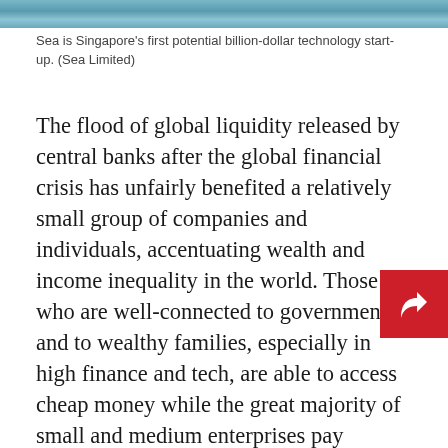[Figure (photo): Top strip showing partial image — appears to be a photo related to technology or Singapore skyline, only bottom edge visible.]
Sea is Singapore's first potential billion-dollar technology start-up. (Sea Limited)
The flood of global liquidity released by central banks after the global financial crisis has unfairly benefited a relatively small group of companies and individuals, accentuating wealth and income inequality in the world. Those who are well-connected to governments and to wealthy families, especially in high finance and tech, are able to access cheap money while the great majority of small and medium enterprises pay higher interest rates. Inflation in asset prices has skewed wealth further to those who are already wealthy. In many developing countries, the crowding in starts to...